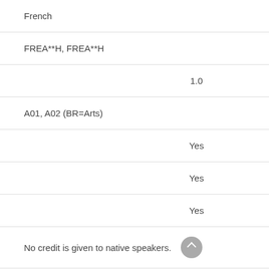French
FREA**H, FREA**H
1.0
A01, A02 (BR=Arts)
Yes
Yes
Yes
No credit is given to native speakers.